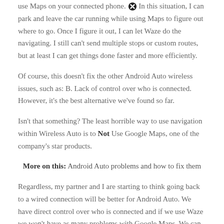use Maps on your connected phone. In this situation, I can park and leave the car running while using Maps to figure out where to go. Once I figure it out, I can let Waze do the navigating. I still can't send multiple stops or custom routes, but at least I can get things done faster and more efficiently.
Of course, this doesn't fix the other Android Auto wireless issues, such as: B. Lack of control over who is connected. However, it's the best alternative we've found so far.
Isn't that something? The least horrible way to use navigation within Wireless Auto is to Not Use Google Maps, one of the company's star products.
More on this: Android Auto problems and how to fix them
Regardless, my partner and I are starting to think going back to a wired connection will be better for Android Auto. We have direct control over who is connected and if we use Waze we won't have as many problems with Google Maps. We can only hope that Google really figures these things out